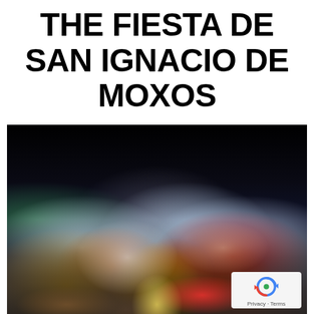THE FIESTA DE SAN IGNACIO DE MOXOS
[Figure (photo): Night festival scene with crowds of people, colorful flags, fireworks sparks, smoke, and street lights illuminating the celebration of the Fiesta de San Ignacio de Moxos]